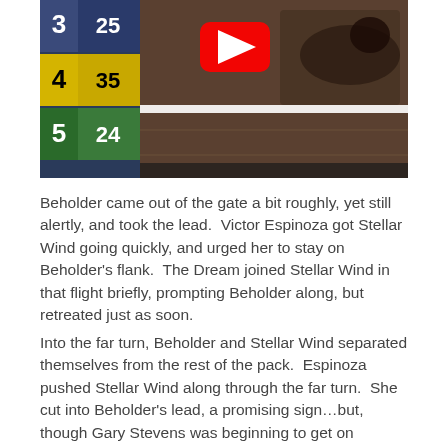[Figure (screenshot): A YouTube video thumbnail/screenshot showing a horse race with odds board on the left showing numbers: 3|25, 4|35, 5|24 and a red YouTube play button overlay in the upper center. A horse and jockey are visible on the right side of the image running on a dirt track.]
Beholder came out of the gate a bit roughly, yet still alertly, and took the lead.  Victor Espinoza got Stellar Wind going quickly, and urged her to stay on Beholder's flank.  The Dream joined Stellar Wind in that flight briefly, prompting Beholder along, but retreated just as soon.
Into the far turn, Beholder and Stellar Wind separated themselves from the rest of the pack.  Espinoza pushed Stellar Wind along through the far turn.  She cut into Beholder's lead, a promising sign…but, though Gary Stevens was beginning to get on Beholder, Stellar Wind had been asked just